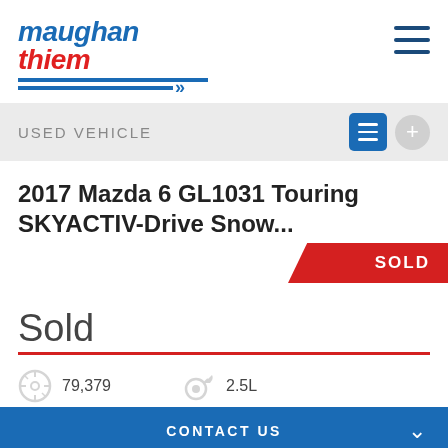[Figure (logo): Maughan Thiem dealership logo with blue and red italic text and blue horizontal bars with quote marks]
USED VEHICLE
2017 Mazda 6 GL1031 Touring SKYACTIV-Drive Snow...
[Figure (other): Red diagonal SOLD ribbon banner on vehicle image]
Sold
79,379
2.5L
CONTACT US
6 speed
petrol
FINANCE THIS VEHICLE